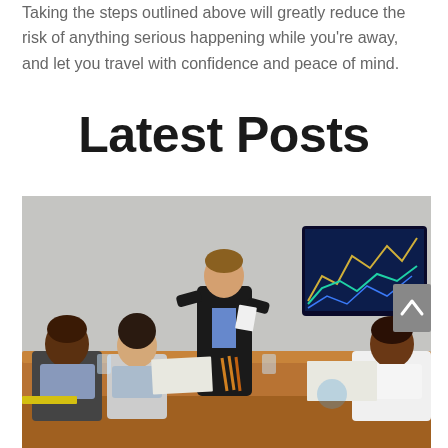Taking the steps outlined above will greatly reduce the risk of anything serious happening while you're away, and let you travel with confidence and peace of mind.
Latest Posts
[Figure (photo): Business meeting scene with four people seated around a conference table. A man in a suit is standing and presenting. A large monitor displays financial charts in the background.]